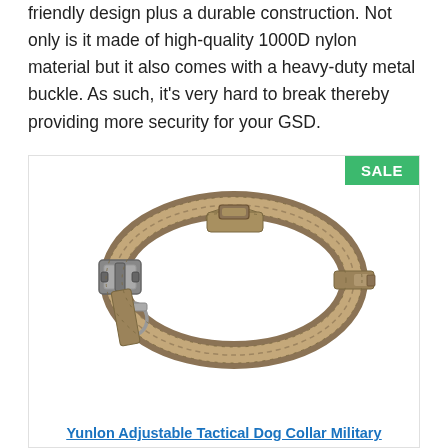friendly design plus a durable construction. Not only is it made of high-quality 1000D nylon material but it also comes with a heavy-duty metal buckle. As such, it's very hard to break thereby providing more security for your GSD.
[Figure (photo): Photo of a tan/coyote brown tactical dog collar with metal buckle and D-ring, shown on a white background, with a green SALE badge in the upper right corner.]
Yunlon Adjustable Tactical Dog Collar Military